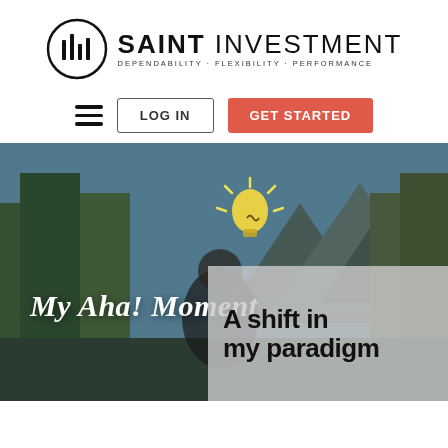[Figure (logo): Saint Investment logo: circular bar-chart icon followed by text 'SAINT INVESTMENT' with tagline 'DEPENDABILITY · FLEXIBILITY · PERFORMANCE']
[Figure (screenshot): Navigation bar with hamburger menu icon, LOG IN button, and GET STARTED red button]
[Figure (photo): Hero image showing a man outdoors with mountains and trees in background, a cartoon light bulb drawing overlay, text 'My Aha! Moment' in white serif font, and a gray overlay box reading 'A shift in my paradigm']